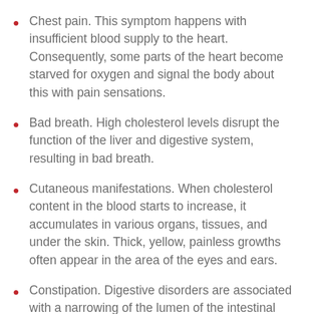Chest pain. This symptom happens with insufficient blood supply to the heart. Consequently, some parts of the heart become starved for oxygen and signal the body about this with pain sensations.
Bad breath. High cholesterol levels disrupt the function of the liver and digestive system, resulting in bad breath.
Cutaneous manifestations. When cholesterol content in the blood starts to increase, it accumulates in various organs, tissues, and under the skin. Thick, yellow, painless growths often appear in the area of the eyes and ears.
Constipation. Digestive disorders are associated with a narrowing of the lumen of the intestinal ...